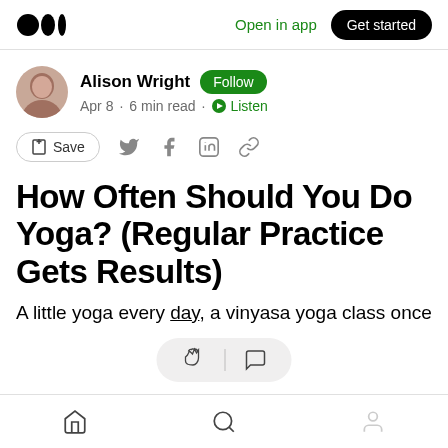Medium logo | Open in app | Get started
Alison Wright · Follow · Apr 8 · 6 min read · Listen
[Figure (infographic): Toolbar with Save button, Twitter, Facebook, LinkedIn, and link icons]
How Often Should You Do Yoga? (Regular Practice Gets Results)
A little yoga every day, a vinyasa yoga class once
[Figure (infographic): Floating toolbar with clap and comment icons]
Home | Search | Profile navigation icons